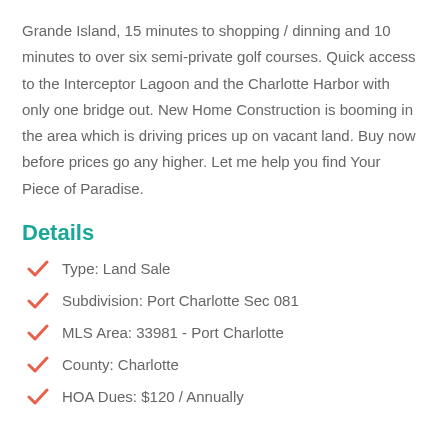Grande Island, 15 minutes to shopping / dinning and 10 minutes to over six semi-private golf courses. Quick access to the Interceptor Lagoon and the Charlotte Harbor with only one bridge out. New Home Construction is booming in the area which is driving prices up on vacant land. Buy now before prices go any higher. Let me help you find Your Piece of Paradise.
Details
Type: Land Sale
Subdivision: Port Charlotte Sec 081
MLS Area: 33981 - Port Charlotte
County: Charlotte
HOA Dues: $120 / Annually